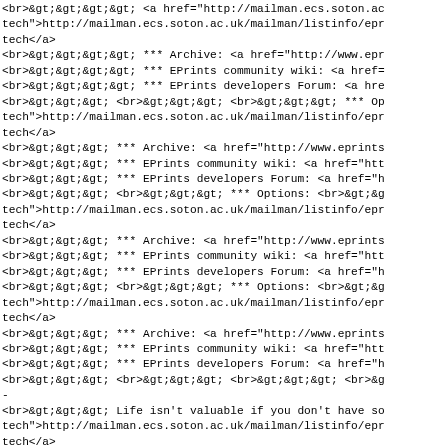<br>&gt;&gt;&gt;&gt; <a href="http://mailman.ecs.soton.ac.uk/mailman/listinfo/eprints-tech">http://mailman.ecs.soton.ac.uk/mailman/listinfo/eprints-tech</a>
<br>&gt;&gt;&gt;&gt; *** Archive: <a href="http://www.epr
<br>&gt;&gt;&gt;&gt; *** EPrints community wiki: <a href=
<br>&gt;&gt;&gt;&gt; *** EPrints developers Forum: <a hre
<br>&gt;&gt;&gt; <br>&gt;&gt;&gt; <br>&gt;&gt;&gt; *** Op
tech">http://mailman.ecs.soton.ac.uk/mailman/listinfo/epr
tech</a>
<br>&gt;&gt;&gt; *** Archive: <a href="http://www.eprints
<br>&gt;&gt;&gt; *** EPrints community wiki: <a href="htt
<br>&gt;&gt;&gt; *** EPrints developers Forum: <a href="h
<br>&gt;&gt;&gt; <br>&gt;&gt;&gt; *** Options: <br>&gt;&g
tech">http://mailman.ecs.soton.ac.uk/mailman/listinfo/epr
tech</a>
<br>&gt;&gt;&gt; *** Archive: <a href="http://www.eprints
<br>&gt;&gt;&gt; *** EPrints community wiki: <a href="htt
<br>&gt;&gt;&gt; *** EPrints developers Forum: <a href="h
<br>&gt;&gt;&gt; <br>&gt;&gt;&gt; *** Options: <br>&gt;&g
tech">http://mailman.ecs.soton.ac.uk/mailman/listinfo/epr
tech</a>
<br>&gt;&gt;&gt; *** Archive: <a href="http://www.eprints
<br>&gt;&gt;&gt; *** EPrints community wiki: <a href="htt
<br>&gt;&gt;&gt; *** EPrints developers Forum: <a href="h
<br>&gt;&gt;&gt; <br>&gt;&gt;&gt; <br>&gt;&gt;&gt; <br>&g
-
<br>&gt;&gt;&gt; Life isn't valuable if you don't have so
tech">http://mailman.ecs.soton.ac.uk/mailman/listinfo/epr
tech</a>
<br>&gt;&gt;&gt; *** Archive: <a href="http://www.eprints